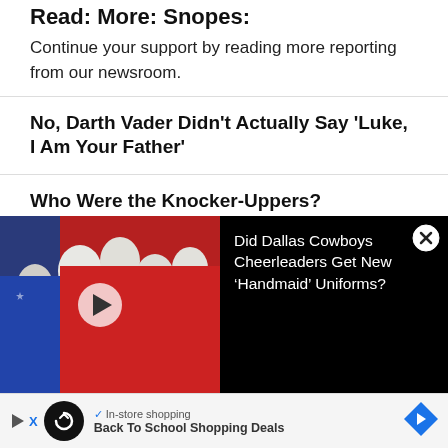Read: More: Snopes:
Continue your support by reading more reporting from our newsroom.
No, Darth Vader Didn't Actually Say 'Luke, I Am Your Father'
Who Were the Knocker-Uppers?
Was 'The Sound of Silence' Inspired by Art Garfunkel's Blind Friend, Sandy Greenberg?
Do Cell Phones Emit More Radiation When
[Figure (photo): Screenshot showing a video thumbnail of people in Handmaid's Tale costumes (red and blue robes with white bonnets) with a play button overlay, alongside a black popup panel reading 'Did Dallas Cowboys Cheerleaders Get New Handmaid Uniforms?' and a close button]
Did Dallas Cowboys Cheerleaders Get New 'Handmaid' Uniforms?
[Figure (other): Advertisement bar at bottom with Looper logo, In-store shopping text, and Back To School Shopping Deals]